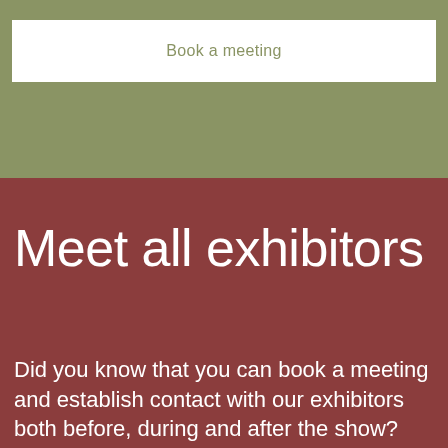Book a meeting
Meet all exhibitors
Did you know that you can book a meeting and establish contact with our exhibitors both before, during and after the show?